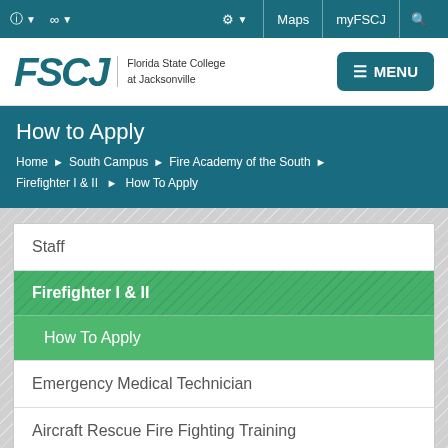FSCJ Florida State College at Jacksonville — Top navigation bar with Maps, myFSCJ, Search
[Figure (logo): FSCJ Florida State College at Jacksonville logo with MENU button]
How to Apply
Home > South Campus > Fire Academy of the South > Firefighter I & II > How To Apply
Staff
Firefighter I & II
How To Apply
Emergency Medical Technician
Aircraft Rescue Fire Fighting Training